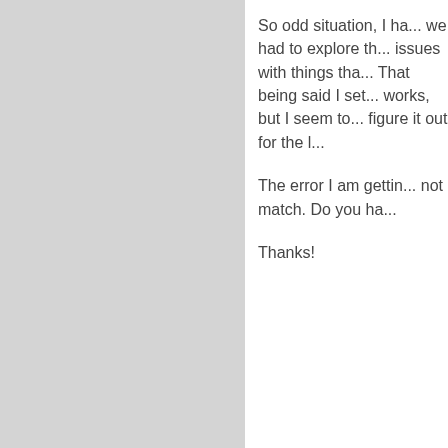So odd situation, I ha... we had to explore th... issues with things tha... That being said I set... works, but I seem to... figure it out for the l...

The error I am gettin... not match. Do you ha...

Thanks!
Loading...
[Figure (photo): Avatar photo of Richard M. Hicks, a man in a suit]
Richard M. Hicks
Unusual. When th... resolving the FQD...